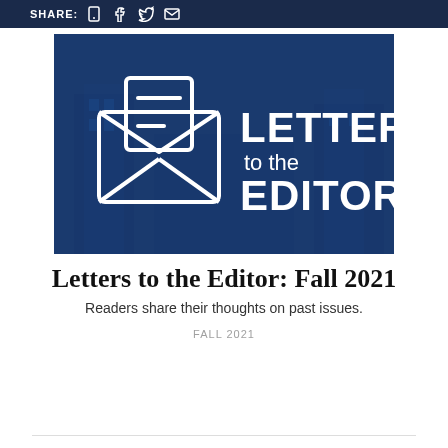SHARE:
[Figure (illustration): Letters to the Editor banner image on dark blue background with envelope/letter icon on the left and text 'LETTERS to the EDITOR' on the right in white bold text.]
Letters to the Editor: Fall 2021
Readers share their thoughts on past issues.
FALL 2021